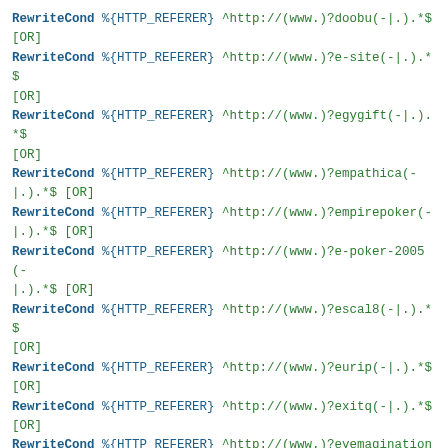RewriteCond %{HTTP_REFERER} ^http://(www.)?doobu(-|.).*$
[OR]
RewriteCond %{HTTP_REFERER} ^http://(www.)?e-site(-|.).*$
[OR]
RewriteCond %{HTTP_REFERER} ^http://(www.)?egygift(-|.).*$
[OR]
RewriteCond %{HTTP_REFERER} ^http://(www.)?empathica(-|.).*$ [OR]
RewriteCond %{HTTP_REFERER} ^http://(www.)?empirepoker(-|.).*$ [OR]
RewriteCond %{HTTP_REFERER} ^http://(www.)?e-poker-2005(-|.).*$ [OR]
RewriteCond %{HTTP_REFERER} ^http://(www.)?escal8(-|.).*$
[OR]
RewriteCond %{HTTP_REFERER} ^http://(www.)?eurip(-|.).*$
[OR]
RewriteCond %{HTTP_REFERER} ^http://(www.)?exitq(-|.).*$
[OR]
RewriteCond %{HTTP_REFERER} ^http://(www.)?eyemagination(-|.).*$ [OR]
RewriteCond %{HTTP_REFERER} ^http://(www.)?fastcrawl(-|.).*$ [OR]
RewriteCond %{HTTP_REFERER} ^http://(www.)?fearcrow(-|.).*$
[OR]
RewriteCond %{HTTP_REFERER} ^http://(www.)?ferretsoft(-|.).*$ [OR]
RewriteCond %{HTTP_REFERER} ^http://(www.)?f[...](-|.).*$